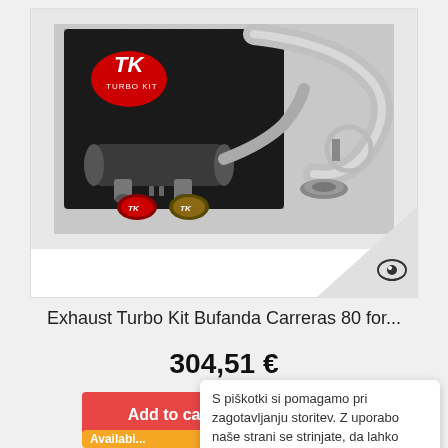[Figure (photo): Turbo Kit exhaust system product photo showing exhaust pipes, muffler components, clamps, and TK Turbo Kit logo on black carbon fiber background]
Exhaust Turbo Kit Bufanda Carreras 80 for...
304,51 €
Add to ca...
Available in 3 days
S piškotki si pomagamo pri zagotavljanju storitev. Z uporabo naše strani se strinjate, da lahko uporabljamo piškotke.
V redu